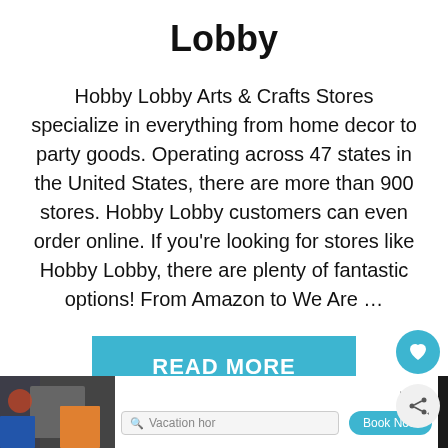Lobby
Hobby Lobby Arts & Crafts Stores specialize in everything from home decor to party goods. Operating across 47 states in the United States, there are more than 900 stores. Hobby Lobby customers can even order online. If you're looking for stores like Hobby Lobby, there are plenty of fantastic options! From Amazon to We Are …
[Figure (other): READ MORE button in teal/blue color]
[Figure (other): Advertisement banner at bottom with vacation search interface and close button]